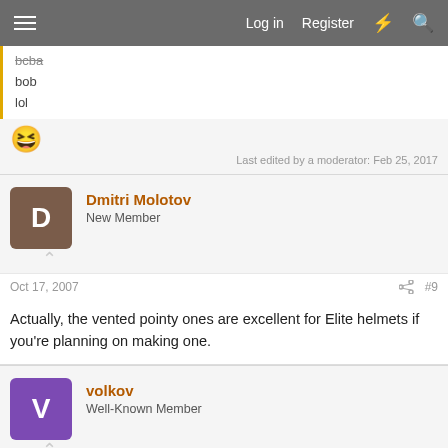Log in  Register
bcba
bob
lol
[Figure (illustration): Laughing emoji / grinning face with big open eyes]
Last edited by a moderator: Feb 25, 2017
Dmitri Molotov
New Member
Oct 17, 2007	#9
Actually, the vented pointy ones are excellent for Elite helmets if you're planning on making one.
volkov
Well-Known Member
Oct 17, 2007	#10